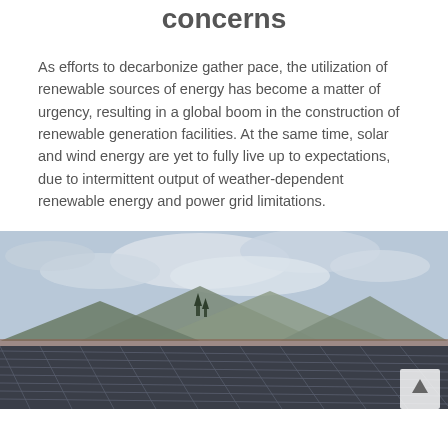concerns
As efforts to decarbonize gather pace, the utilization of renewable sources of energy has become a matter of urgency, resulting in a global boom in the construction of renewable generation facilities. At the same time, solar and wind energy are yet to fully live up to expectations, due to intermittent output of weather-dependent renewable energy and power grid limitations.
[Figure (photo): Aerial view of solar panels in the foreground with mountains and cloudy sky in the background.]